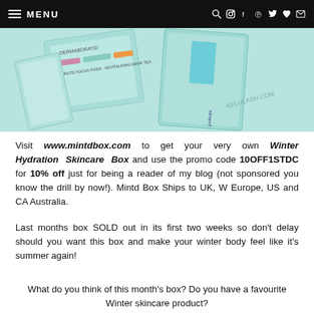MENU
[Figure (photo): Photo of skincare product boxes in mint/teal packaging, including what appears to be Probiotic skincare items]
Visit www.mintdbox.com to get your very own Winter Hydration Skincare Box and use the promo code 10OFF1STDC for 10% off just for being a reader of my blog (not sponsored you know the drill by now!). Mintd Box Ships to UK, W Europe, US and CA Australia.
Last months box SOLD out in its first two weeks so don't delay should you want this box and make your winter body feel like it's summer again!
What do you think of this month's box? Do you have a favourite Winter skincare product?